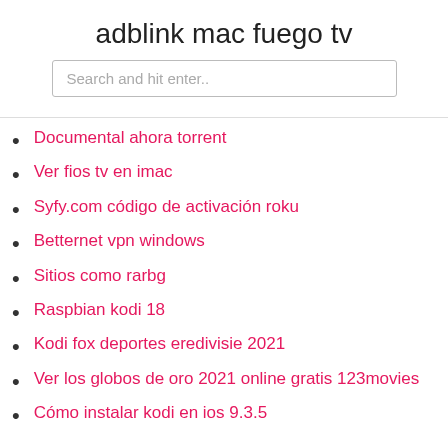adblink mac fuego tv
Documental ahora torrent
Ver fios tv en imac
Syfy.com código de activación roku
Betternet vpn windows
Sitios como rarbg
Raspbian kodi 18
Kodi fox deportes eredivisie 2021
Ver los globos de oro 2021 online gratis 123movies
Cómo instalar kodi en ios 9.3.5